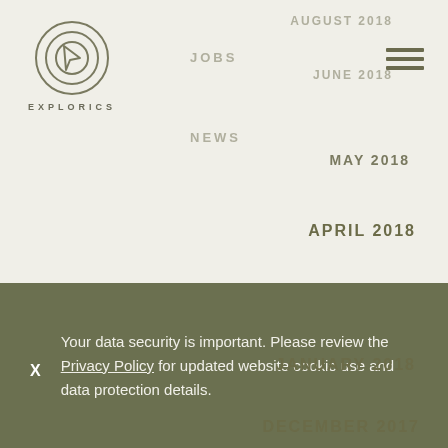[Figure (logo): Explorics circular logo with concentric rings and arrow/cursor icon, with text EXPLORICS below]
JOBS
NEWS
AUGUST 2018
JUNE 2018
MAY 2018
APRIL 2018
FEBRUARY 2018
JANUARY 2018
DECEMBER 2017
NOVEMBER 2017
OCTOBER 2017
Your data security is important. Please review the Privacy Policy for updated website cookie use and data protection details.